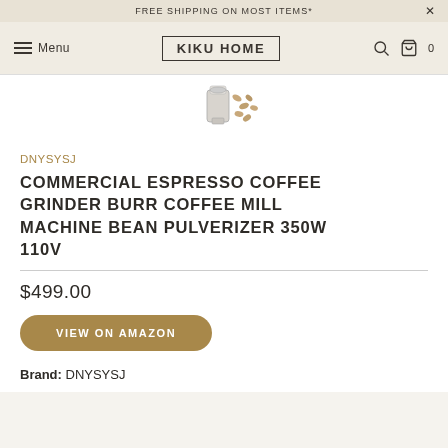FREE SHIPPING ON MOST ITEMS*
Menu | KIKU HOME
[Figure (photo): Partial product image of commercial espresso coffee grinder with coffee beans]
DNYSYSJ
COMMERCIAL ESPRESSO COFFEE GRINDER BURR COFFEE MILL MACHINE BEAN PULVERIZER 350W 110V
$499.00
VIEW ON AMAZON
Brand: DNYSYSJ